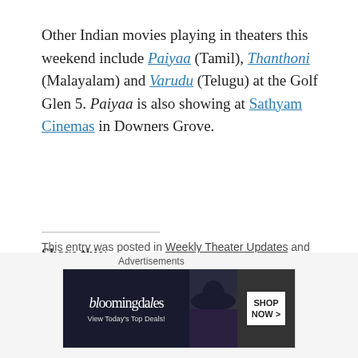Other Indian movies playing in theaters this weekend include Paiyaa (Tamil), Thanthoni (Malayalam) and Varudu (Telugu) at the Golf Glen 5. Paiyaa is also showing at Sathyam Cinemas in Downers Grove.
Share this:
Email | Twitter | Reddit | Facebook
Like this:
Loading...
This entry was posted in Weekly Theater Updates and tagged
[Figure (screenshot): Bloomingdales advertisement banner: dark background with Bloomingdales logo and 'View Today's Top Deals!' text on left, 'SHOP NOW >' button on right. Shows a woman wearing a wide-brimmed hat.]